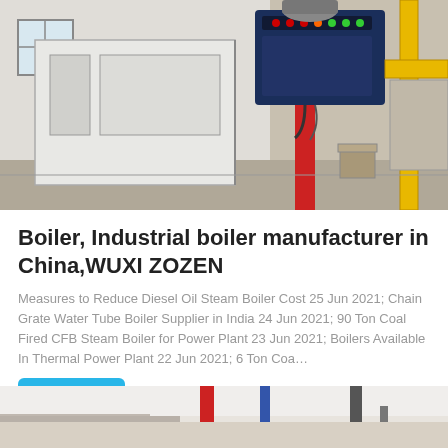[Figure (photo): Industrial boiler equipment in a factory setting — large white boiler cabinet on the left, blue electrical control panel with red and yellow indicator lights mounted on a red pillar in the center, yellow gas pipe on the right, concrete floor.]
Boiler, Industrial boiler manufacturer in China,WUXI ZOZEN
Measures to Reduce Diesel Oil Steam Boiler Cost 25 Jun 2021; Chain Grate Water Tube Boiler Supplier in India 24 Jun 2021; 90 Ton Coal Fired CFB Steam Boiler for Power Plant 23 Jun 2021; Boilers Available In Thermal Power Plant 22 Jun 2021; 6 Ton Coa…
Get Price
WhatsApp
[Figure (photo): Bottom portion of industrial boiler interior showing red and blue pipes against white walls and ceiling.]